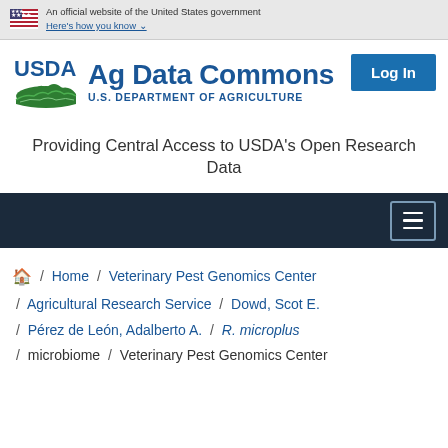An official website of the United States government Here's how you know
[Figure (logo): USDA Ag Data Commons logo with USDA seal and text 'Ag Data Commons / U.S. DEPARTMENT OF AGRICULTURE']
Log In
Providing Central Access to USDA's Open Research Data
hamburger menu button
Home / Veterinary Pest Genomics Center / Agricultural Research Service / Dowd, Scot E. / Pérez de León, Adalberto A. / R. microplus / microbiome / Veterinary Pest Genomics Center